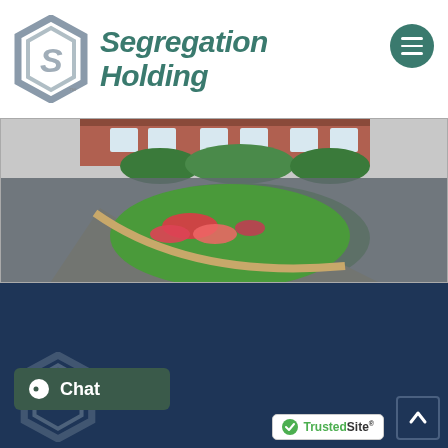[Figure (logo): Segregation Holding company logo — hexagonal S symbol in gray/silver with trademark symbol, company name in teal italic bold text]
[Figure (photo): Photograph of a paved asphalt parking lot or driveway with a curved island featuring green grass, colorful flowers (red and pink), and a beige concrete curb. A brick building with white windows is visible in the background with green landscaping.]
[Figure (screenshot): Dark navy blue footer section of a website featuring a partial hexagonal Segregation Holding logo at bottom left, a green Chat button with chat icon at bottom left, a TrustedSite badge at bottom right, and a back-to-top arrow button at far bottom right.]